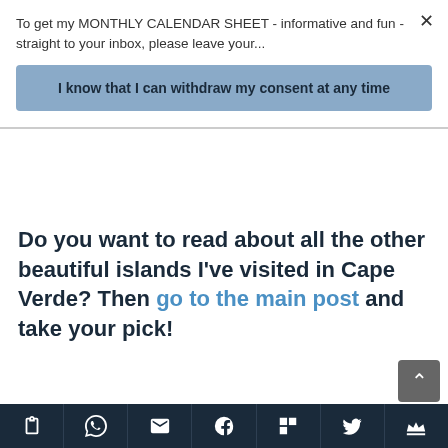To get my MONTHLY CALENDAR SHEET - informative and fun - straight to your inbox, please leave your...
I know that I can withdraw my consent at any time
Do you want to read about all the other beautiful islands I've visited in Cape Verde? Then go to the main post and take your pick!